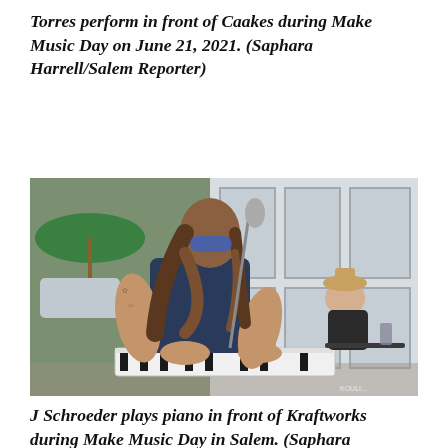Torres perform in front of Caakes during Make Music Day on June 21, 2021. (Saphara Harrell/Salem Reporter)
[Figure (photo): A heavily tattooed man with long hair and blue sunglasses plays a keyboard/piano outdoors in front of a building with large windows. A microphone stand is in front of him. People are seated at tables in the background. A green umbrella is visible on the left.]
J Schroeder plays piano in front of Kraftworks during Make Music Day in Salem. (Saphara